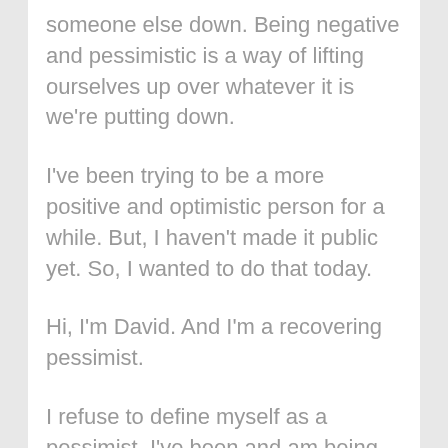someone else down. Being negative and pessimistic is a way of lifting ourselves up over whatever it is we're putting down.
I've been trying to be a more positive and optimistic person for a while. But, I haven't made it public yet. So, I wanted to do that today.
Hi, I'm David. And I'm a recovering pessimist.
I refuse to define myself as a pessimist. I've been and am being set free from it.